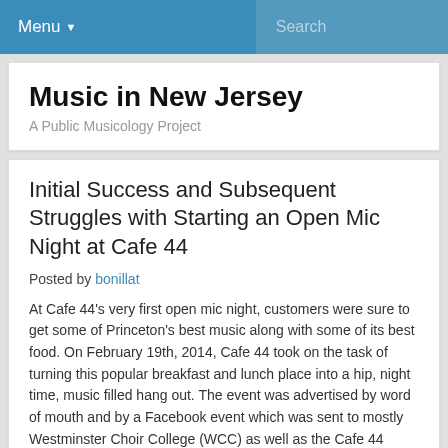Menu ▾   Search
Music in New Jersey
A Public Musicology Project
Initial Success and Subsequent Struggles with Starting an Open Mic Night at Cafe 44
Posted by bonillat
At Cafe 44's very first open mic night, customers were sure to get some of Princeton's best music along with some of its best food. On February 19th, 2014, Cafe 44 took on the task of turning this popular breakfast and lunch place into a hip, night time, music filled hang out. The event was advertised by word of mouth and by a Facebook event which was sent to mostly Westminster Choir College (WCC) as well as the Cafe 44 Facebook page. The event began at 7:00 p.m and ended around 9:30 p.m. They had a $5 cover charge and it was BYOB.
The night started out strong with practically a full house, most of which